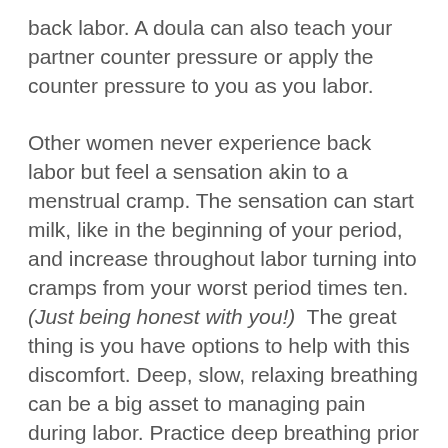back labor. A doula can also teach your partner counter pressure or apply the counter pressure to you as you labor.
Other women never experience back labor but feel a sensation akin to a menstrual cramp. The sensation can start milk, like in the beginning of your period, and increase throughout labor turning into cramps from your worst period times ten.  (Just being honest with you!)  The great thing is you have options to help with this discomfort. Deep, slow, relaxing breathing can be a big asset to managing pain during labor. Practice deep breathing prior to your birth. Focus breathing in through the